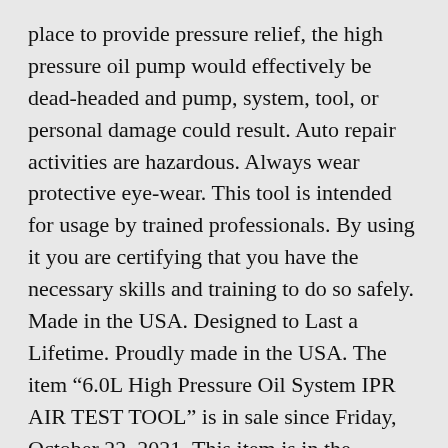place to provide pressure relief, the high pressure oil pump would effectively be dead-headed and pump, system, tool, or personal damage could result. Auto repair activities are hazardous. Always wear protective eye-wear. This tool is intended for usage by trained professionals. By using it you are certifying that you have the necessary skills and training to do so safely. Made in the USA. Designed to Last a Lifetime. Proudly made in the USA. The item “6.0L High Pressure Oil System IPR AIR TEST TOOL” is in sale since Friday, October 22, 2021. This item is in the category “eBay Motors\Parts & Accessories\Car & Truck Parts & Accessories\Air & Fuel Delivery\Fuel Injection Parts\Additional Fuel Injection Parts”. The seller is “jj181818” and is located in Muskegon, Michigan.